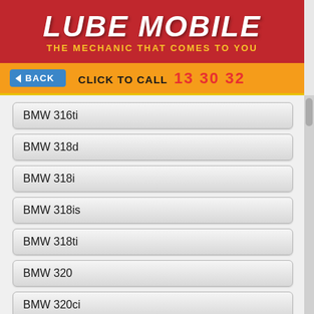LUBE MOBILE - THE MECHANIC THAT COMES TO YOU
BACK  CLICK TO CALL 13 30 32
BMW 316ti
BMW 318d
BMW 318i
BMW 318is
BMW 318ti
BMW 320
BMW 320ci
BMW 320d